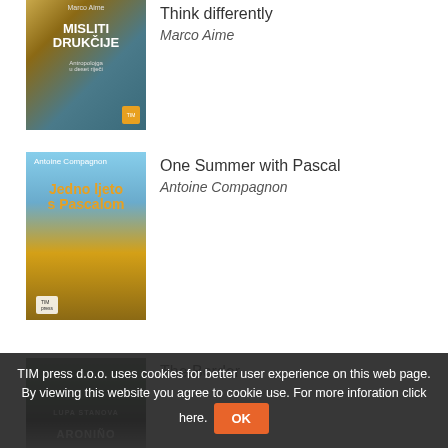[Figure (photo): Book cover: Misliti Drukčije (Think Differently) by Marco Aime — yellow/teal cover with wooden totem figure]
Think differently
Marco Aime
[Figure (photo): Book cover: Jedno ljeto s Pascalom (One Summer with Pascal) by Antoine Compagnon — sky and wheat field cover]
One Summer with Pascal
Antoine Compagnon
[Figure (photo): Book cover: The Border — dark green/grey cover with text LUPA STANOVA]
The Border
TIM press d.o.o. uses cookies for better user experience on this web page. By viewing this website you agree to cookie use. For more inforation click here.